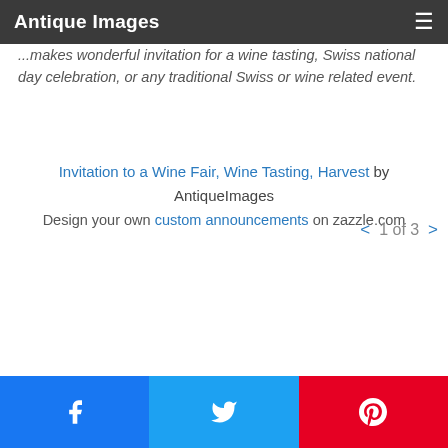Antique Images
...makes wonderful invitation for a wine tasting, Swiss national day celebration, or any traditional Swiss or wine related event.
Invitation to a Wine Fair, Wine Tasting, Harvest by AntiqueImages
Design your own custom announcements on zazzle.com
< 1 of 3 >